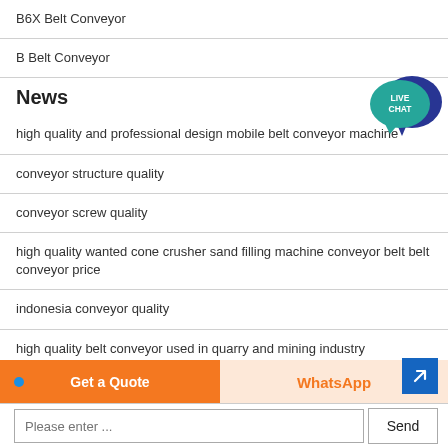B6X Belt Conveyor
B Belt Conveyor
News
[Figure (illustration): Live Chat speech bubble icon in teal/dark blue]
high quality and professional design mobile belt conveyor machine
conveyor structure quality
conveyor screw quality
high quality wanted cone crusher sand filling machine conveyor belt belt conveyor price
indonesia conveyor quality
high quality belt conveyor used in quarry and mining industry
Get a Quote
WhatsApp
Please enter ...
Send